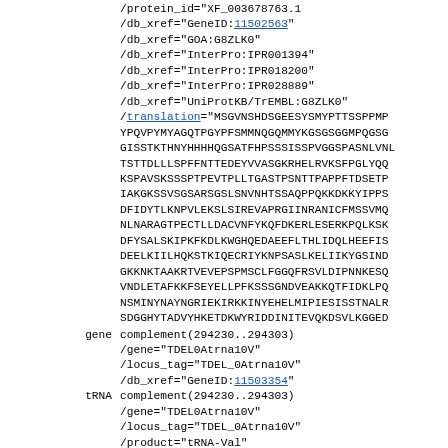/protein_id="XF_003678763.1"
/db_xref="GeneID:11502563"
/db_xref="GOA:G8ZLK0"
/db_xref="InterPro:IPR001394"
/db_xref="InterPro:IPR018200"
/db_xref="InterPro:IPR028889"
/db_xref="UniProtKB/TrEMBL:G8ZLK0"
/translation="MSGVNSHDSGEESYSMYPTTSSPPMPYPQVPYMYAGQTPGYPFSMMNQGQMMYKGSGSGGMPQGSGGISSTKTHNYHHHHQGSATFHPSSSISSPVGGSPASNLVNLTSTTDLLLSPFFNTTEDEYVVASGKRHELRVKSFPGLYQQKSPAVSKSSSPTPEVTPLLTGASTPSNTTPAPPFTDSETPIAKGKSSVSGSARSGSLSNVNHTSSAQPPQKKDKKYIPPSDFIDYTLKNPVLEKSLSIREVAPRGIINRANICFMSSVMQNLNARAGTPECTLLDACVNFYKQFDKERLESERKPQLKSKDFYSALSKIPKFKDLKWGHQEDAEEFLTHLIDQLHEEFISDEELKIILHQKSTKIQECRIYKNPSASLKELIIKYGSINDGKKNKTAAKRTVEVEPSPMSCLFGGQFRSVLDIPNNKESQVNDLETAFKKFSEYELLPFKSSSGNDVEAKKQTFIDKLPQNSMINYNAYNGRIEKIRKKINYEHELMIPIESISSTNALRSDGGHYTADVYHKETDKWYRIDDINITEVQKDSVLKGGED
gene  complement(294230..294303)
/gene="TDEL0Atrna10V"
/locus_tag="TDEL_0Atrna10V"
/db_xref="GeneID:11503354"
tRNA  complement(294230..294303)
/gene="TDEL0Atrna10V"
/locus_tag="TDEL_0Atrna10V"
/product="tRNA-Val"
/note="codon recognized: GUU"
/db_xref="GeneID:11503354"
gene  <294729..>296534
/gene="TDEL0A01620"